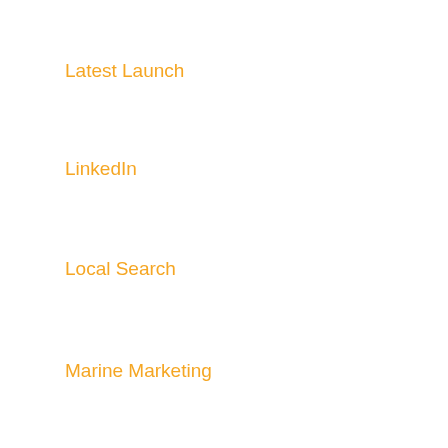Latest Launch
LinkedIn
Local Search
Marine Marketing
Mobile
News
Restaurant
SEO
Tutorials
Uncategorized